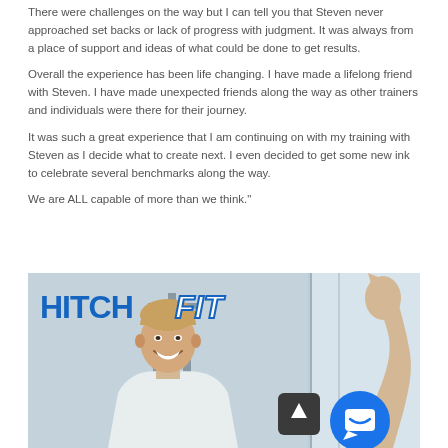There were challenges on the way but I can tell you that Steven never approached set backs or lack of progress with judgment. It was always from a place of support and ideas of what could be done to get results.
Overall the experience has been life changing. I have made a lifelong friend with Steven. I have made unexpected friends along the way as other trainers and individuals were there for their journey.
It was such a great experience that I am continuing on with my training with Steven as I decide what to create next. I even decided to get some new ink to celebrate several benchmarks along the way.
We are ALL capable of more than we think."
[Figure (photo): Photo of a smiling man with the HitchFit gym logo visible in the upper left. The man appears to be standing outside or near a gym entrance. Two UI overlay buttons are visible: a scroll-up button and a chat button.]